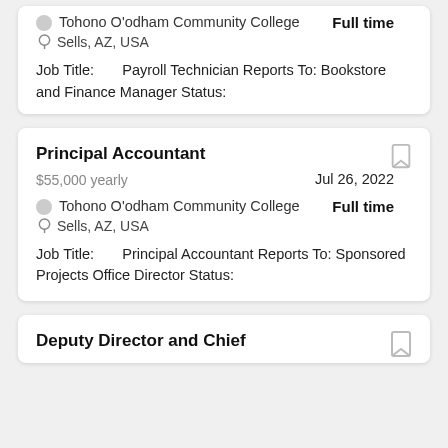Tohono O'odham Community College
Sells, AZ, USA
Full time
Job Title:       Payroll Technician Reports To: Bookstore and Finance Manager Status:
Principal Accountant
$55,000 yearly
Jul 26, 2022
Tohono O'odham Community College
Sells, AZ, USA
Full time
Job Title:       Principal Accountant Reports To: Sponsored Projects Office Director Status:
Deputy Director and Chief